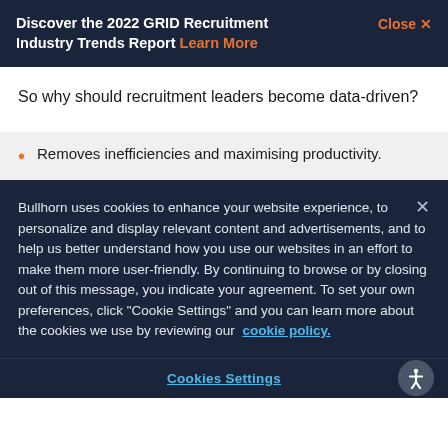Discover the 2022 GRID Recruitment Industry Trends Report Learn More Close ×
So why should recruitment leaders become data-driven?
Removes inefficiencies and maximising productivity.
Bullhorn uses cookies to enhance your website experience, to personalize and display relevant content and advertisements, and to help us better understand how you use our websites in an effort to make them more user-friendly. By continuing to browse or by closing out of this message, you indicate your agreement. To set your own preferences, click "Cookie Settings" and you can learn more about the cookies we use by reviewing our cookie policy.
Cookies Settings